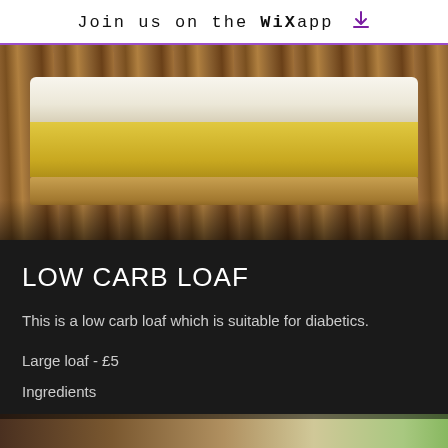Join us on the WiX app ↓
[Figure (photo): Close-up photo of a slice of lemon tart or low carb loaf on a wooden surface, showing a golden/yellow filling layer topped with a light meringue or pastry top]
LOW CARB LOAF
This is a low carb loaf which is suitable for diabetics.
Large loaf - £5
Ingredients
[Figure (photo): Bottom partial photo showing another food item on a surface with greenery in background]